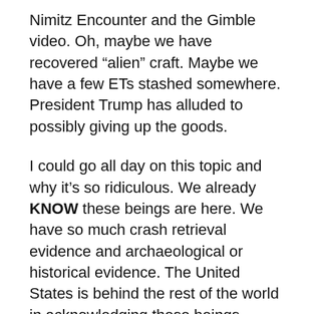Nimitz Encounter and the Gimble video. Oh, maybe we have recovered “alien” craft. Maybe we have a few ETs stashed somewhere. President Trump has alluded to possibly giving up the goods.
I could go all day on this topic and why it’s so ridiculous. We already KNOW these beings are here. We have so much crash retrieval evidence and archaeological or historical evidence. The United States is behind the rest of the world in acknowledging these beings.
Back in my day, you were a nerd if you played Dungeons & Dragons and read comic books. The same can be said of UFOlogy. Now? It’s like you’re an outcast if you’re not into these things. Maybe I’m